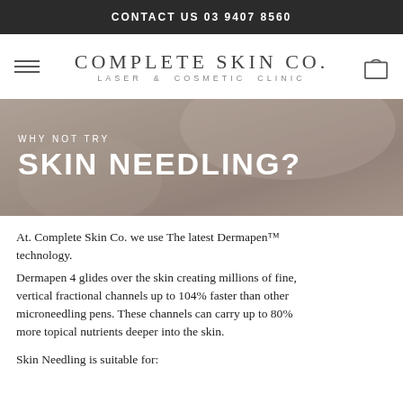CONTACT US 03 9407 8560
[Figure (logo): Complete Skin Co. Laser & Cosmetic Clinic logo with hamburger menu and bag icon]
[Figure (photo): Background photo of close-up skin with text overlay: WHY NOT TRY SKIN NEEDLING?]
At. Complete Skin Co. we use The latest Dermapen™ technology.
Dermapen 4 glides over the skin creating millions of fine, vertical fractional channels up to 104% faster than other microneedling pens. These channels can carry up to 80% more topical nutrients deeper into the skin.
Skin Needling is suitable for: